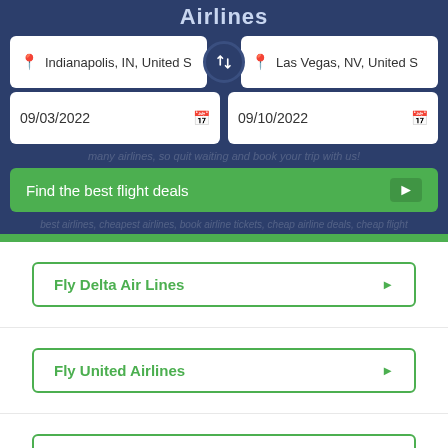Airlines
Indianapolis, IN, United S
Las Vegas, NV, United S
09/03/2022
09/10/2022
many airlines, so quit waiting and book your trip with us!
Find the best flight deals
Fly Delta Air Lines
Fly United Airlines
Fly Continental Airlines
Fly AirTran
Fly US Airways